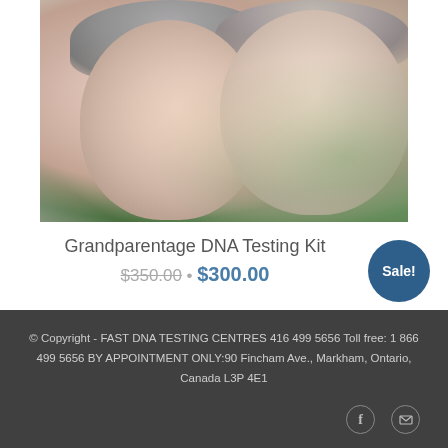[Figure (photo): Two smiling elderly people (a woman and a man) photographed closely together, with green foliage in the background. The image is a product photo for a DNA testing kit.]
Grandparentage DNA Testing Kit
$350.00 · $300.00
Sale!
© Copyright - FAST DNA TESTING CENTRES 416 499 5656 Toll free: 1 866 499 5656 BY APPOINTMENT ONLY:90 Fincham Ave., Markham, Ontario, Canada L3P 4E1